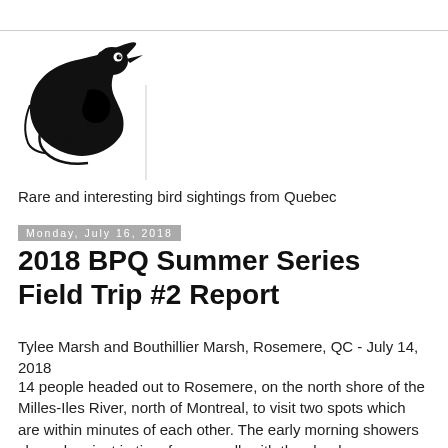[Figure (logo): Black and white stylized bird (warbler/chickadee) logo illustration facing right, drawn in bold ink lines]
Rare and interesting bird sightings from Quebec
Monday, July 16, 2018
2018 BPQ Summer Series Field Trip #2 Report
Tylee Marsh and Bouthillier Marsh, Rosemere, QC - July 14, 2018
14 people headed out to Rosemere, on the north shore of the Milles-Iles River, north of Montreal, to visit two spots which are within minutes of each other. The early morning showers cleared up just in time for our walk with the cloud cover helping to keep the heat down. We were treated to 35